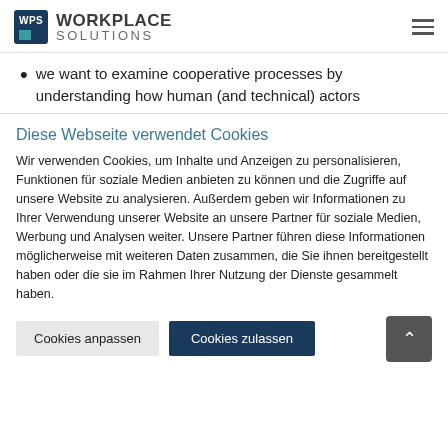WPS WORKPLACE SOLUTIONS
we want to examine cooperative processes by understanding how human (and technical) actors
Diese Webseite verwendet Cookies
Wir verwenden Cookies, um Inhalte und Anzeigen zu personalisieren, Funktionen für soziale Medien anbieten zu können und die Zugriffe auf unsere Website zu analysieren. Außerdem geben wir Informationen zu Ihrer Verwendung unserer Website an unsere Partner für soziale Medien, Werbung und Analysen weiter. Unsere Partner führen diese Informationen möglicherweise mit weiteren Daten zusammen, die Sie ihnen bereitgestellt haben oder die sie im Rahmen Ihrer Nutzung der Dienste gesammelt haben.
Cookies anpassen | Cookies zulassen